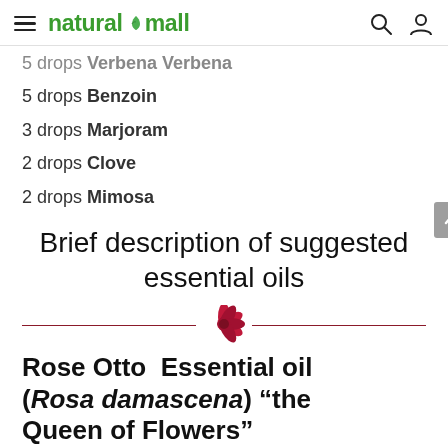natural mall
5 drops Verbena Verbena
5 drops Benzoin
3 drops Marjoram
2 drops Clove
2 drops Mimosa
Brief description of suggested essential oils
[Figure (illustration): Red flower illustration used as decorative divider between a horizontal rule]
Rose Otto  Essential oil (Rosa damascena) “the Queen of Flowers”